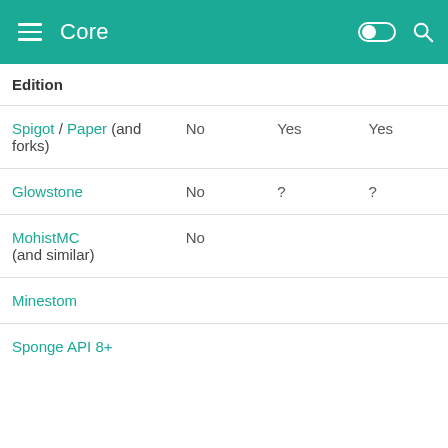Core
| Edition |  |  |  |
| --- | --- | --- | --- |
| Spigot / Paper (and forks) | No | Yes | Yes |
| Glowstone | No | ? | ? |
| MohistMC (and similar) | No |  |  |
| Minestom |  |  |  |
| Sponge API 8+ |  |  |  |